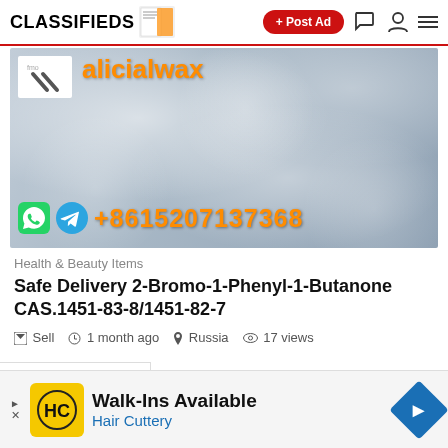CLASSIFIEDS
[Figure (screenshot): Classifieds listing product photo showing crystalline substance with overlay text 'alicialwax' in orange, WhatsApp and Telegram icons, and phone number +8615207137368 in orange]
Health & Beauty Items
Safe Delivery 2-Bromo-1-Phenyl-1-Butanone CAS.1451-83-8/1451-82-7
Sell   1 month ago   Russia   17 views
[Figure (photo): Advertisement banner: Walk-Ins Available - Hair Cuttery, with HC logo in yellow square and blue navigation arrow diamond icon]